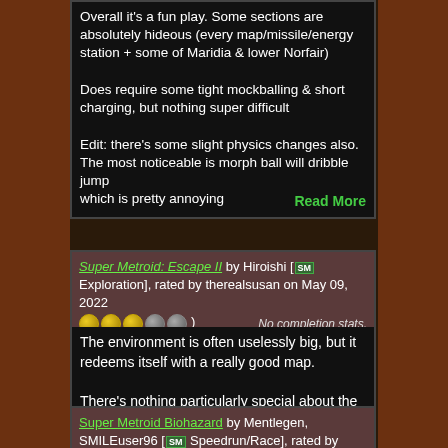Overall it's a fun play. Some sections are absolutely hideous (every map/missile/energy station + some of Maridia & lower Norfair)

Does require some tight mockballing & short charging, but nothing super difficult

Edit: there's some slight physics changes also. The most noticeable is morph ball will dribble jump which is pretty annoying

Read More
Super Metroid: Escape II by Hiroishi [SM Exploration], rated by therealsusan on May 09, 2022 (3 gold stars, 2 gray stars) No completion stats.
The environment is often uselessly big, but it redeems itself with a really good map.

There's nothing particularly special about the world, but it's passable and mildly enjoyable.
Super Metroid Biohazard by Mentlegen, SMILEuser96 [SM Speedrun/Race], rated by therealsusan on May 08, 2022 (3 gold stars, 2 gray stars)